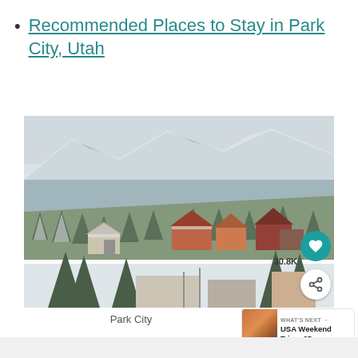Recommended Places to Stay in Park City, Utah
[Figure (photo): Winter landscape photo of Park City, Utah showing snow-covered hillside with houses, pine trees, and mountains in the background]
Park City